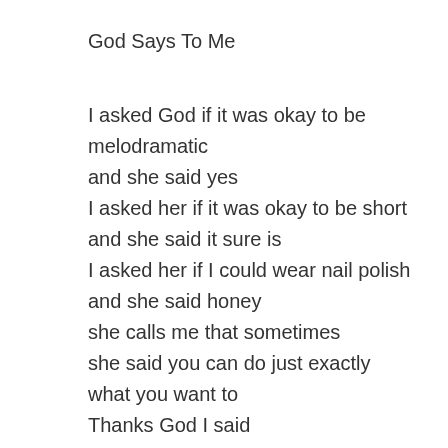God Says To Me
I asked God if it was okay to be melodramatic
and she said yes
I asked her if it was okay to be short
and she said it sure is
I asked her if I could wear nail polish
and she said honey
she calls me that sometimes
she said you can do just exactly
what you want to
Thanks God I said
And is it even okay if I don’t paragraph my letters
Sweetcakes God said